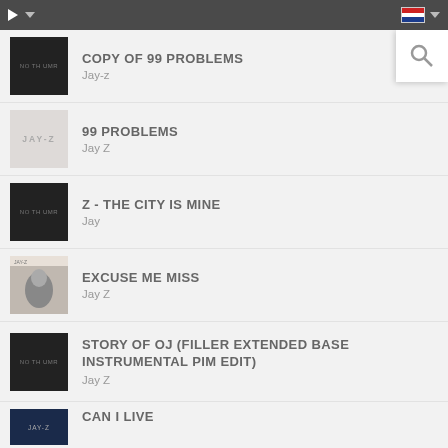Music player interface header bar with play button, dropdown, and Dutch flag
COPY OF 99 PROBLEMS / Jay-z
99 PROBLEMS / Jay Z
Z - THE CITY IS MINE / Jay
EXCUSE ME MISS / Jay Z
STORY OF OJ (FILLER EXTENDED BASE INSTRUMENTAL PIM EDIT) / Jay Z
CAN I LIVE / (partial)